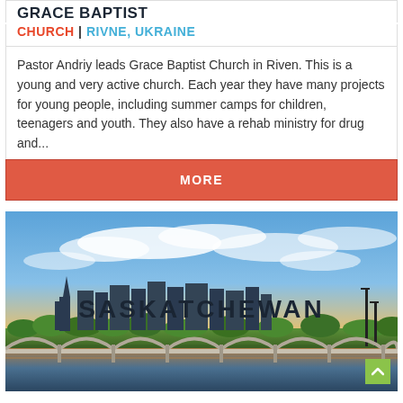GRACE BAPTIST
CHURCH | RIVNE, UKRAINE
Pastor Andriy leads Grace Baptist Church in Riven. This is a young and very active church. Each year they have many projects for young people, including summer camps for children, teenagers and youth. They also have a rehab ministry for drug and...
MORE
[Figure (photo): Cityscape of Saskatchewan at sunset with a bridge over a river, blue sky with clouds, and city buildings in the background. Text overlay reads SASKATCHEWAN.]